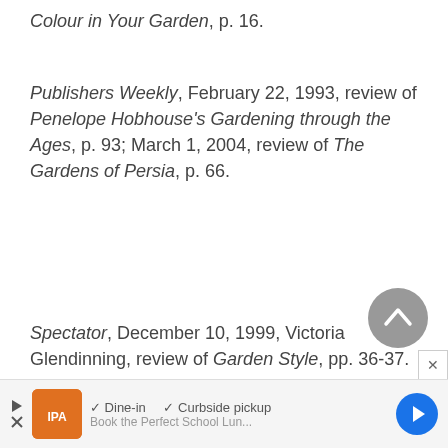Colour in Your Garden, p. 16.
Publishers Weekly, February 22, 1993, review of Penelope Hobhouse's Gardening through the Ages, p. 93; March 1, 2004, review of The Gardens of Persia, p. 66.
Spectator, December 10, 1999, Victoria Glendinning, review of Garden Style, pp. 36-37.